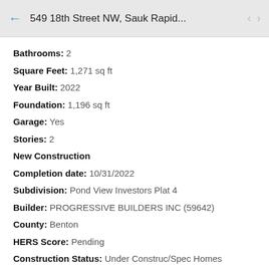549 18th Street NW, Sauk Rapid...
Bathrooms: 2
Square Feet: 1,271 sq ft
Year Built: 2022
Foundation: 1,196 sq ft
Garage: Yes
Stories: 2
New Construction
Completion date: 10/31/2022
Subdivision: Pond View Investors Plat 4
Builder: PROGRESSIVE BUILDERS INC (59642)
County: Benton
HERS Score: Pending
Construction Status: Under Construc/Spec Homes
School Information